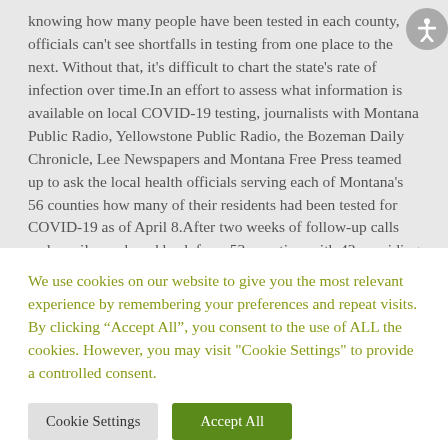knowing how many people have been tested in each county, officials can't see shortfalls in testing from one place to the next. Without that, it's difficult to chart the state's rate of infection over time.In an effort to assess what information is available on local COVID-19 testing, journalists with Montana Public Radio, Yellowstone Public Radio, the Bozeman Daily Chronicle, Lee Newspapers and Montana Free Press teamed up to ask the local health officials serving each of Montana's 56 counties how many of their residents had been tested for COVID-19 as of April 8.After two weeks of follow-up calls and emails, we heard back from 53 counties, with 43 providing a
We use cookies on our website to give you the most relevant experience by remembering your preferences and repeat visits. By clicking “Accept All”, you consent to the use of ALL the cookies. However, you may visit "Cookie Settings" to provide a controlled consent.